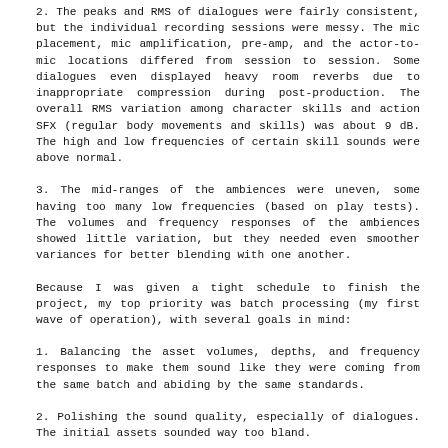2. The peaks and RMS of dialogues were fairly consistent, but the individual recording sessions were messy. The mic placement, mic amplification, pre-amp, and the actor-to-mic locations differed from session to session. Some dialogues even displayed heavy room reverbs due to inappropriate compression during post-production. The overall RMS variation among character skills and action SFX (regular body movements and skills) was about 9 dB. The high and low frequencies of certain skill sounds were above normal.
3. The mid-ranges of the ambiences were uneven, some having too many low frequencies (based on play tests). The volumes and frequency responses of the ambiences showed little variation, but they needed even smoother variances for better blending with one another.
Because I was given a tight schedule to finish the project, my top priority was batch processing (my first wave of operation), with several goals in mind:
1. Balancing the asset volumes, depths, and frequency responses to make them sound like they were coming from the same batch and abiding by the same standards.
2. Polishing the sound quality, especially of dialogues. The initial assets sounded way too bland.
3. Attenuating above 16 kHz and below 60 Hz for all assets, with slight differences in the amount of attenuation and frequency bands between sound categories.
However, the particular complexity of Moonlight Blade made things more difficult. Under the pressure of our release schedule, following the above procedure line-by-line was apparently impractical. The best bet was to fully understand the current pipeline